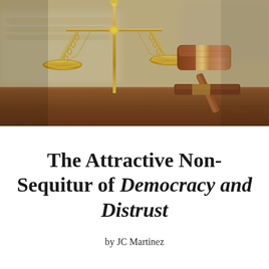[Figure (photo): Close-up photo of golden scales of justice on the left and a wooden judge's gavel with sound block on the right, on a wooden surface with blurred book in background.]
The Attractive Non-Sequitur of Democracy and Distrust
by JC Martinez